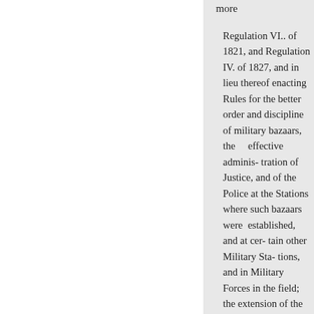more
Regulation VI.. of 1821, and Regulation IV. of 1827, and in lieu thereof enacting Rules for the better order and discipline of military bazaars, the effective administration of Justice, and of the Police at the Stations where such bazaars were established, and at certain other Military Stations, and in Military Forces in the field; the extension of the powers of Courts-Martial; and the more effectual prevention of undue use of Spirituous and Fermented Liquors and Intoxicating Drugs by the European Troops under this Presidency.